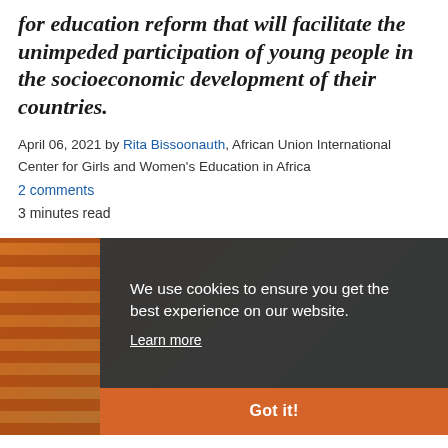for education reform that will facilitate the unimpeded participation of young people in the socioeconomic development of their countries.
April 06, 2021 by Rita Bissoonauth, African Union International Center for Girls and Women's Education in Africa
2 comments
3 minutes read
[Figure (photo): Photo of a person studying/writing, partially visible on the left side, overlaid by a dark cookie consent banner reading 'We use cookies to ensure you get the best experience on our website.' with a 'Learn more' link and an orange 'Got it!' button.]